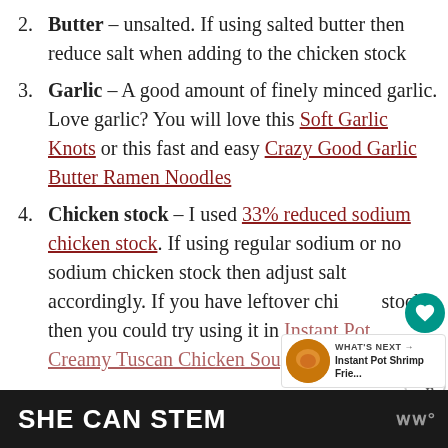2. Butter – unsalted. If using salted butter then reduce salt when adding to the chicken stock
3. Garlic – A good amount of finely minced garlic. Love garlic? You will love this Soft Garlic Knots or this fast and easy Crazy Good Garlic Butter Ramen Noodles
4. Chicken stock – I used 33% reduced sodium chicken stock. If using regular sodium or no sodium chicken stock then adjust salt accordingly. If you have leftover chicken stock, then you could try using it in Instant Pot Creamy Tuscan Chicken Soup or Spicy...
SHE CAN STEM